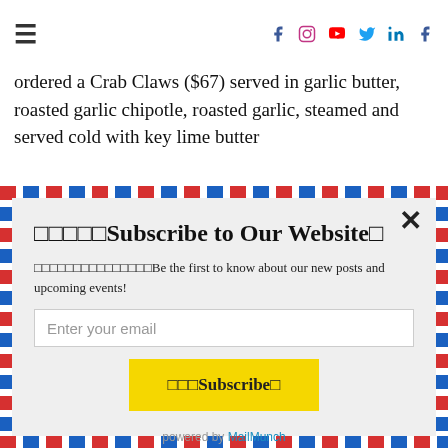≡  [social icons: f, instagram, youtube, twitter, linkedin, f]
ordered a  Crab Claws ($67) served in garlic butter, roasted garlic chipotle, roasted garlic, steamed and served cold with key lime butter
□□□□□Subscribe to Our Website□
□□□□□□□□□□□□□□□Be the first to know about our new posts and upcoming events!
Enter your email
□□□Subscribe□
powered by MailMunch